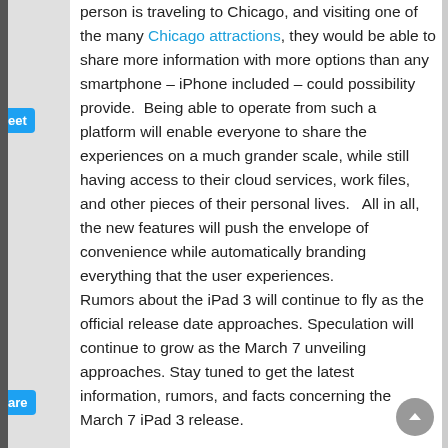person is traveling to Chicago, and visiting one of the many Chicago attractions, they would be able to share more information with more options than any smartphone – iPhone included – could possibility provide.  Being able to operate from such a platform will enable everyone to share the experiences on a much grander scale, while still having access to their cloud services, work files, and other pieces of their personal lives.   All in all, the new features will push the envelope of convenience while automatically branding everything that the user experiences.
Rumors about the iPad 3 will continue to fly as the official release date approaches. Speculation will continue to grow as the March 7 unveiling approaches. Stay tuned to get the latest information, rumors, and facts concerning the March 7 iPad 3 release.